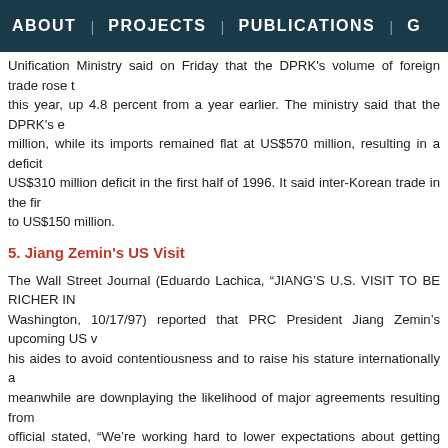ABOUT | PROJECTS | PUBLICATIONS | G
Unification Ministry said on Friday that the DPRK's volume of foreign trade rose this year, up 4.8 percent from a year earlier. The ministry said that the DPRK's exports were [amount] million, while its imports remained flat at US$570 million, resulting in a deficit compared to the US$310 million deficit in the first half of 1996. It said inter-Korean trade in the first half came to US$150 million.
5. Jiang Zemin's US Visit
The Wall Street Journal (Eduardo Lachica, "JIANG'S U.S. VISIT TO BE RICHER IN... Washington, 10/17/97) reported that PRC President Jiang Zemin's upcoming US visit... his aides to avoid contentiousness and to raise his stature internationally... meanwhile are downplaying the likelihood of major agreements resulting from... official stated, "We're working hard to lower expectations about getting results... another. What we're trying to do is to solidify a relationship that can be of m... century." US House Speaker Newt Gingrich is arranging a "bicameral bipar... congressional leadership. But some US lawmakers are concerned about the poss... let the PRC leader feel the full weight of US concerns regarding the PRC. H... Gephardt and human-rights proponents in his party have complained that the Re... the PRC's wishes by not allowing an array of controversial bills to be debated on t... A spokeswoman for Gingrich said that the speaker is consulting with the adm... debate."